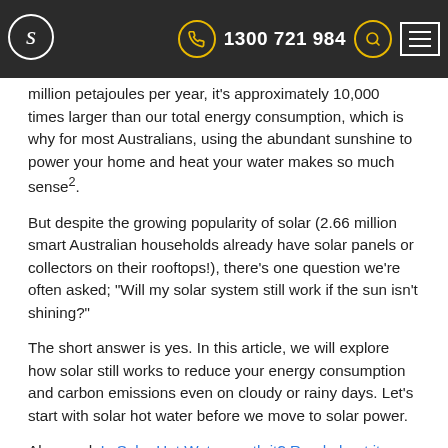1300 721 984
million petajoules per year, it's approximately 10,000 times larger than our total energy consumption, which is why for most Australians, using the abundant sunshine to power your home and heat your water makes so much sense².
But despite the growing popularity of solar (2.66 million smart Australian households already have solar panels or collectors on their rooftops!), there’s one question we’re often asked; “Will my solar system still work if the sun isn’t shining?”
The short answer is yes. In this article, we will explore how solar still works to reduce your energy consumption and carbon emissions even on cloudy or rainy days. Let’s start with solar hot water before we move to solar power.
Also read: Is Solar Hot Water worth it? Read about its benefits and debunking common myths
D...